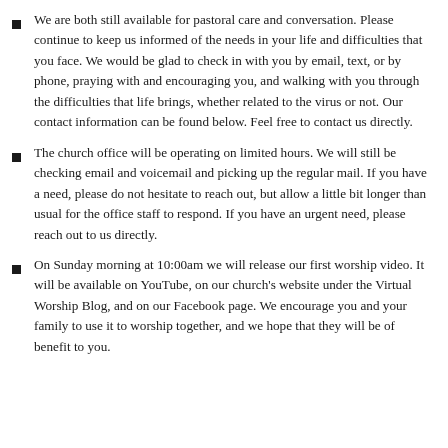We are both still available for pastoral care and conversation.  Please continue to keep us informed of the needs in your life and difficulties that you face.  We would be glad to check in with you by email, text, or by phone, praying with and encouraging you, and walking with you through the difficulties that life brings, whether related to the virus or not.  Our contact information can be found below.  Feel free to contact us directly.
The church office will be operating on limited hours.  We will still be checking email and voicemail and picking up the regular mail.  If you have a need, please do not hesitate to reach out, but allow a little bit longer than usual for the office staff to respond.  If you have an urgent need, please reach out to us directly.
On Sunday morning at 10:00am we will release our first worship video.  It will be available on YouTube, on our church's website under the Virtual Worship Blog, and on our Facebook page.  We encourage you and your family to use it to worship together, and we hope that they will be of benefit to you.